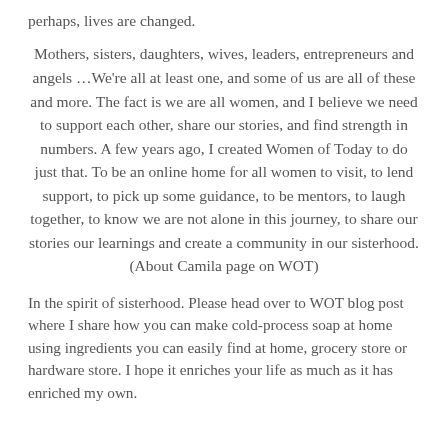perhaps, lives are changed.
Mothers, sisters, daughters, wives, leaders, entrepreneurs and angels …We're all at least one, and some of us are all of these and more. The fact is we are all women, and I believe we need to support each other, share our stories, and find strength in numbers. A few years ago, I created Women of Today to do just that. To be an online home for all women to visit, to lend support, to pick up some guidance, to be mentors, to laugh together, to know we are not alone in this journey, to share our stories our learnings and create a community in our sisterhood. (About Camila page on WOT)
In the spirit of sisterhood. Please head over to WOT blog post where I share how you can make cold-process soap at home using ingredients you can easily find at home, grocery store or hardware store. I hope it enriches your life as much as it has enriched my own.